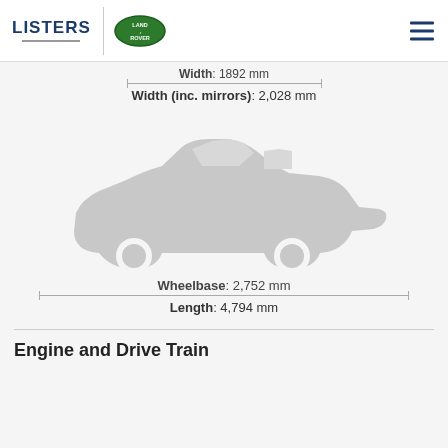LISTERS | Land Rover
Width: 1892 mm
Width (inc. mirrors): 2,028 mm
[Figure (illustration): Side profile silhouette of a convertible/roadster car in light grey]
Wheelbase: 2,752 mm
Length: 4,794 mm
Engine and Drive Train